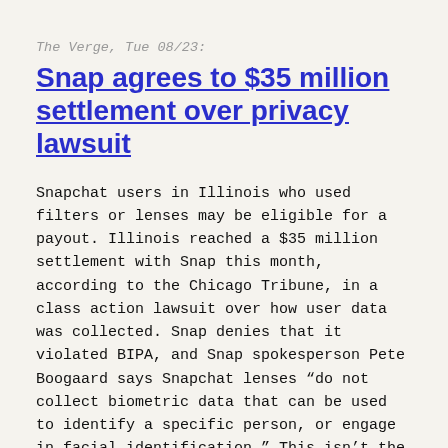The Verge, Tue 08/23:
Snap agrees to $35 million settlement over privacy lawsuit
Snapchat users in Illinois who used filters or lenses may be eligible for a payout. Illinois reached a $35 million settlement with Snap this month, according to the Chicago Tribune, in a class action lawsuit over how user data was collected. Snap denies that it violated BIPA, and Snap spokesperson Pete Boogaard says Snapchat lenses “do not collect biometric data that can be used to identify a specific person, or engage in facial identification.” This isn’t the first time Illinois residents have sued platforms for biometric data collection